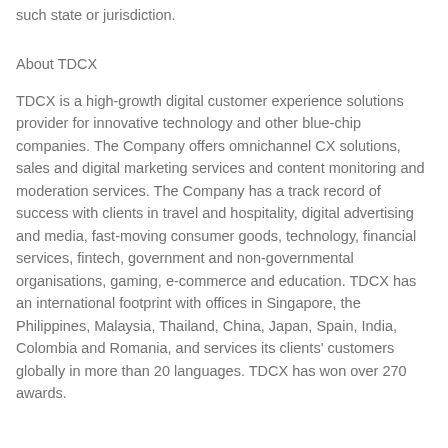such state or jurisdiction.
About TDCX
TDCX is a high-growth digital customer experience solutions provider for innovative technology and other blue-chip companies. The Company offers omnichannel CX solutions, sales and digital marketing services and content monitoring and moderation services. The Company has a track record of success with clients in travel and hospitality, digital advertising and media, fast-moving consumer goods, technology, financial services, fintech, government and non-governmental organisations, gaming, e-commerce and education. TDCX has an international footprint with offices in Singapore, the Philippines, Malaysia, Thailand, China, Japan, Spain, India, Colombia and Romania, and services its clients' customers globally in more than 20 languages. TDCX has won over 270 awards.